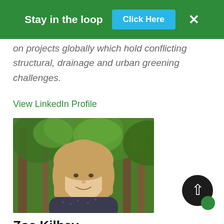Stay in the loop  Click Here  ×
on projects globally which hold conflicting structural, drainage and urban greening challenges.
View LinkedIn Profile
[Figure (photo): Professional headshot of Zoe Kilbey, a blonde woman smiling, wearing a dark patterned top, photographed outdoors against a background of green trees.]
Zoe Kilbey
Finance Manager
United Kingdom